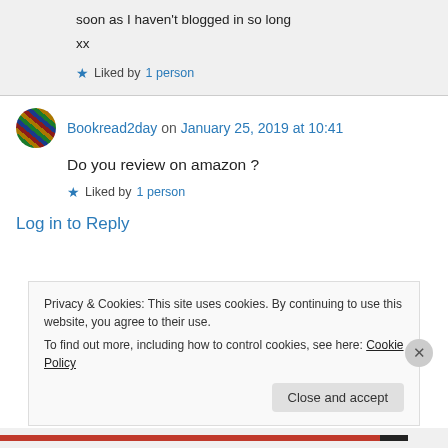soon as I haven't blogged in so long

xx
★ Liked by 1 person
Bookread2day on January 25, 2019 at 10:41
Do you review on amazon ?
★ Liked by 1 person
Log in to Reply
Privacy & Cookies: This site uses cookies. By continuing to use this website, you agree to their use.
To find out more, including how to control cookies, see here: Cookie Policy